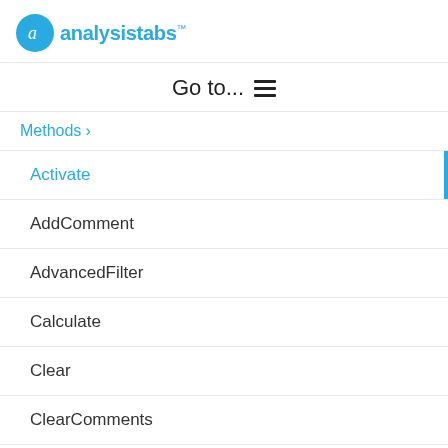analysistabs™
Go to...
Methods >
Activate
AddComment
AdvancedFilter
Calculate
Clear
ClearComments
ClearContents
ClearFormats